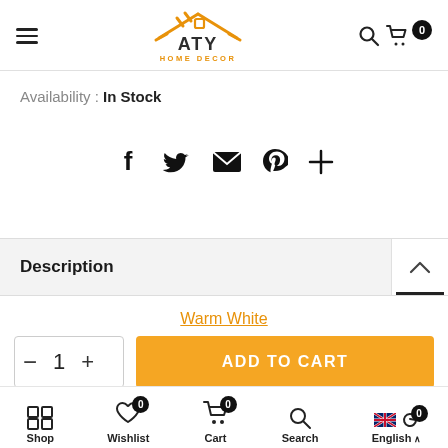[Figure (logo): ATY Home Decor logo with orange house/roof icon and text]
Availability : In Stock
[Figure (infographic): Social share icons: Facebook, Twitter, Email, Pinterest, Plus]
Description
Warm White
- 1 + ADD TO CART
Shop  Wishlist 0  Cart 0  Search  English